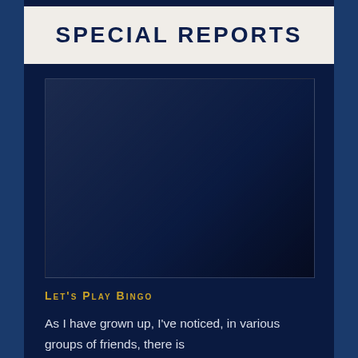Special Reports
[Figure (illustration): Dark blue shadowed book or document cover image, partially translucent, shown against a dark navy background]
Let's Play Bingo
As I have grown up, I've noticed, in various groups of friends, there is